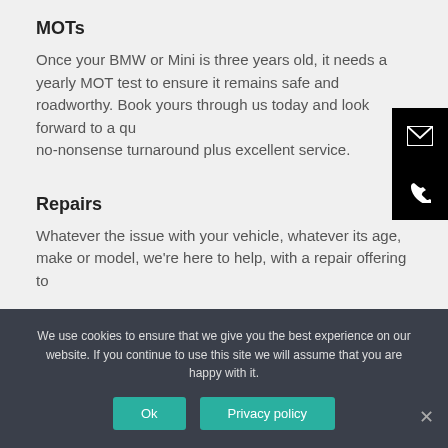MOTs
Once your BMW or Mini is three years old, it needs a yearly MOT test to ensure it remains safe and roadworthy. Book yours through us today and look forward to a quick, no-nonsense turnaround plus excellent service.
Repairs
Whatever the issue with your vehicle, whatever its age, make or model, we're here to help, with a repair offering to
We use cookies to ensure that we give you the best experience on our website. If you continue to use this site we will assume that you are happy with it.